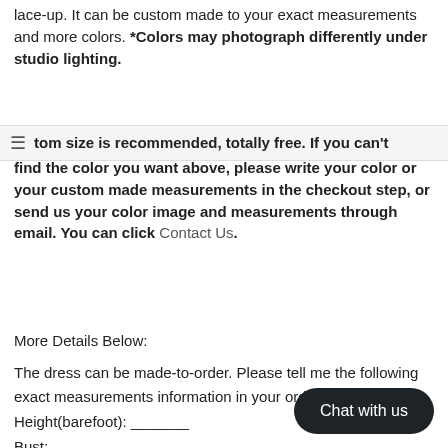lace-up. It can be custom made to your exact measurements and more colors. *Colors may photograph differently under studio lighting.
tom size is recommended, totally free. If you can't find the color you want above, please write your color or your custom made measurements in the checkout step, or send us your color image and measurements through email. You can click Contact Us.
More Details Below:
The dress can be made-to-order. Please tell me the following exact measurements information in your order: Height(barefoot): _______ Bust: _______ Waist: _______ Hip: _______ Hollow to Floor(barefoot): _______(Hollow space between the collarbones)